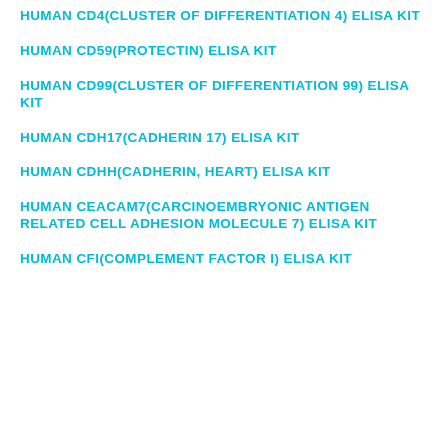HUMAN CD4(CLUSTER OF DIFFERENTIATION 4) ELISA KIT
HUMAN CD59(PROTECTIN) ELISA KIT
HUMAN CD99(CLUSTER OF DIFFERENTIATION 99) ELISA KIT
HUMAN CDH17(CADHERIN 17) ELISA KIT
HUMAN CDHH(CADHERIN, HEART) ELISA KIT
HUMAN CEACAM7(CARCINOEMBRYONIC ANTIGEN RELATED CELL ADHESION MOLECULE 7) ELISA KIT
HUMAN CFI(COMPLEMENT FACTOR I) ELISA KIT